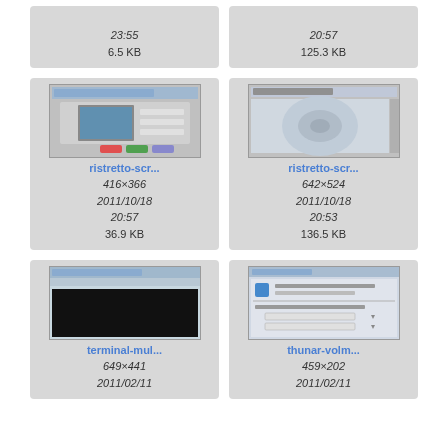[Figure (screenshot): Partial card top-left: time 23:55, size 6.5 KB]
[Figure (screenshot): Partial card top-right: time 20:57, size 125.3 KB]
[Figure (screenshot): ristretto-scr... screenshot thumbnail, image editor dialog with preview, 416x366, 2011/10/18 20:57, 36.9 KB]
[Figure (screenshot): ristretto-scr... screenshot thumbnail, image viewer with swirl, 642x524, 2011/10/18 20:53, 136.5 KB]
[Figure (screenshot): terminal-mul... screenshot thumbnail with black terminal window, 649x441, 2011/02/11]
[Figure (screenshot): thunar-volm... screenshot thumbnail dialog box, 459x202, 2011/02/11]